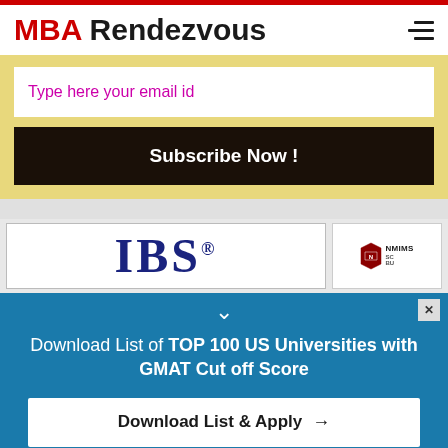MBA Rendezvous
Type here your email id
Subscribe Now !
[Figure (logo): IBS logo in dark blue serif font with registered trademark symbol]
[Figure (logo): NMIMS School of Business logo with shield icon]
Download List of TOP 100 US Universities with GMAT Cut off Score
Download List & Apply →